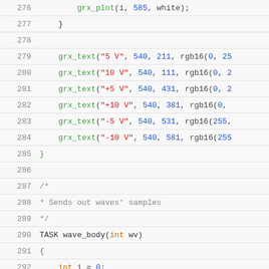[Figure (screenshot): Source code listing lines 276–296 with syntax highlighting. Shows C/embedded code with grx_plot, grx_text, wave_body function definition.]